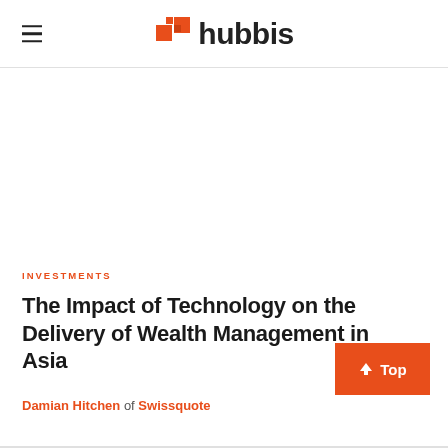hubbis
INVESTMENTS
The Impact of Technology on the Delivery of Wealth Management in Asia
Damian Hitchen of Swissquote